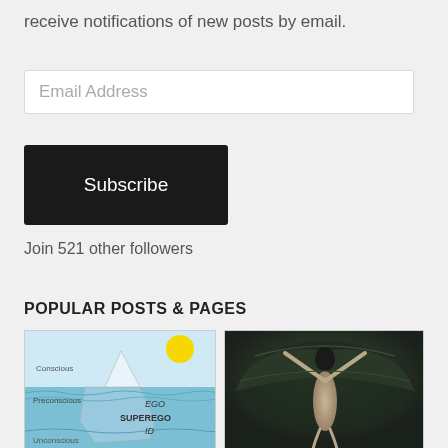receive notifications of new posts by email.
Email Address
Subscribe
Join 521 other followers
POPULAR POSTS & PAGES
[Figure (illustration): Iceberg diagram showing Freudian psyche layers: Conscious at top with sun, Preconscious middle layer with EGO label, lower section with SUPEREGO and ID labels, Unconscious at bottom, water line dividing visible and submerged portions.]
[Figure (photo): Dark dramatic painting or photograph of a winged demonic female figure with arms raised, against a dark cloudy background.]